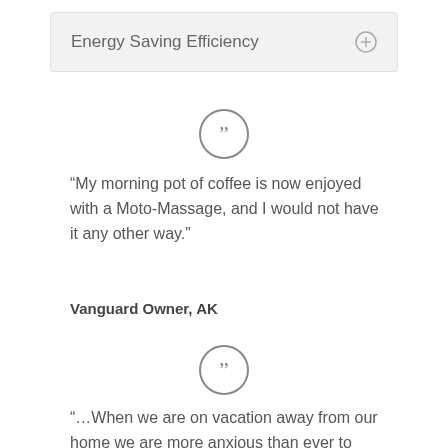Energy Saving Efficiency
[Figure (illustration): Quotation mark icon inside a circle]
“My morning pot of coffee is now enjoyed with a Moto-Massage, and I would not have it any other way.”
Vanguard Owner, AK
[Figure (illustration): Quotation mark icon inside a circle]
“…When we are on vacation away from our home we are more anxious than ever to return, just so we can use our spa.”